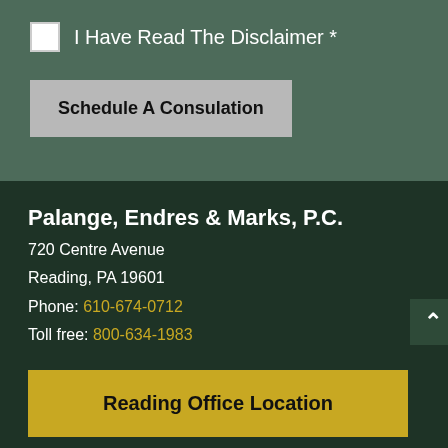I Have Read The Disclaimer *
Schedule A Consulation
Palange, Endres & Marks, P.C.
720 Centre Avenue
Reading, PA 19601
Phone: 610-674-0712
Toll free: 800-634-1983
Reading Office Location